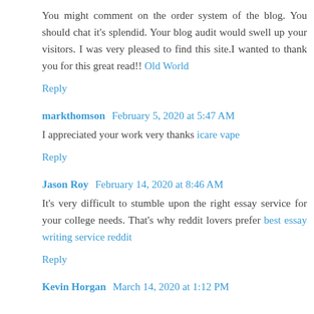You might comment on the order system of the blog. You should chat it's splendid. Your blog audit would swell up your visitors. I was very pleased to find this site.I wanted to thank you for this great read!! Old World
Reply
markthomson  February 5, 2020 at 5:47 AM
I appreciated your work very thanks icare vape
Reply
Jason Roy  February 14, 2020 at 8:46 AM
It's very difficult to stumble upon the right essay service for your college needs. That's why reddit lovers prefer best essay writing service reddit
Reply
Kevin Horgan  March 14, 2020 at 1:12 PM